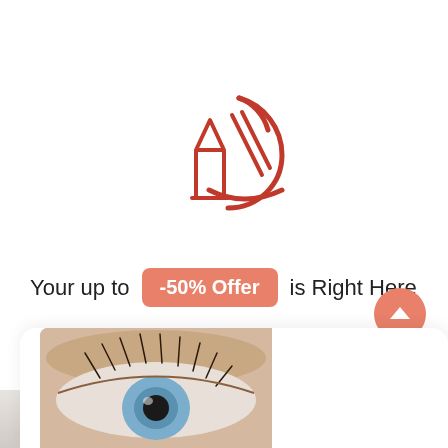[Figure (logo): Red line-art logo of a lipstick and a compact powder mirror, forming a stylized 'D' shape]
Your up to  -50% Offer  is Right Here
Get Inspiration
Price Plans
[Figure (photo): Close-up photo of a human eye with long dark lashes and a fair brow, cropped at the bottom of the page inside a white card]